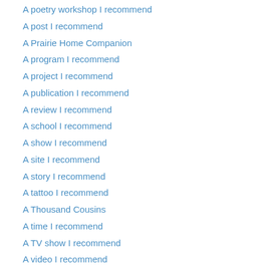A poetry workshop I recommend
A post I recommend
A Prairie Home Companion
A program I recommend
A project I recommend
A publication I recommend
A review I recommend
A school I recommend
A show I recommend
A site I recommend
A story I recommend
A tattoo I recommend
A Thousand Cousins
A time I recommend
A TV show I recommend
A video I recommend
A webinar I recommend
A website I recommend
A work day
A workshop I recommend